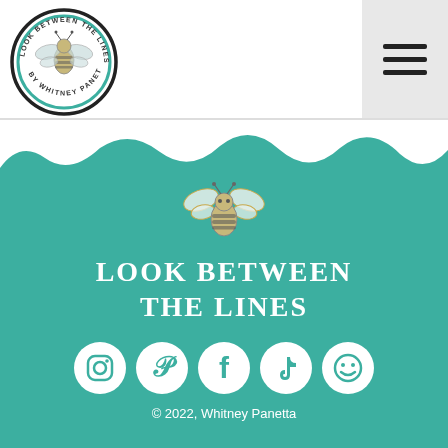[Figure (logo): Circular logo reading 'Look Between The Lines by Whitney Panetta' with a bee illustration in the center, surrounded by a black and teal circle border]
[Figure (illustration): Hamburger menu icon (three horizontal lines) on a light grey background]
[Figure (illustration): Teal painted background section with a bee illustration, site title text, social media icons, and copyright]
LOOK BETWEEN THE LINES
[Figure (illustration): Social media icons row: Instagram, Pinterest, Facebook, TikTok, and a fifth icon]
© 2022, Whitney Panetta